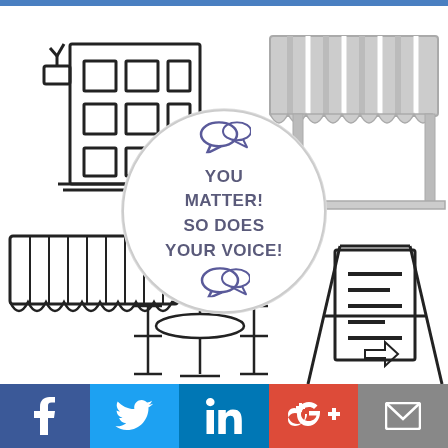[Figure (illustration): Infographic with icons of local businesses (apartment building, market awning, cafe with chairs and table, sandwich board sign) surrounding a central circle with chat bubble icons and the text 'YOU MATTER! SO DOES YOUR VOICE!' Social media share buttons at the bottom: Facebook, Twitter, LinkedIn, Google+, Email.]